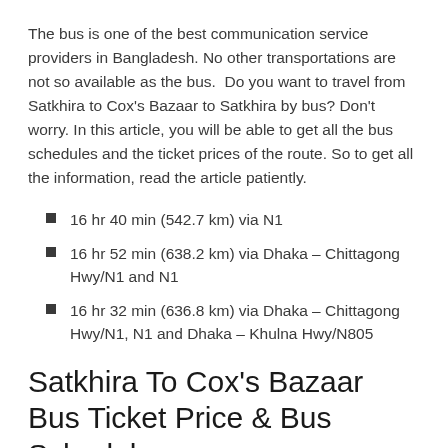The bus is one of the best communication service providers in Bangladesh. No other transportations are not so available as the bus.  Do you want to travel from Satkhira to Cox's Bazaar to Satkhira by bus? Don't worry. In this article, you will be able to get all the bus schedules and the ticket prices of the route. So to get all the information, read the article patiently.
16 hr 40 min (542.7 km) via N1
16 hr 52 min (638.2 km) via Dhaka – Chittagong Hwy/N1 and N1
16 hr 32 min (636.8 km) via Dhaka – Chittagong Hwy/N1, N1 and Dhaka – Khulna Hwy/N805
Satkhira To Cox's Bazaar Bus Ticket Price & Bus Schedule